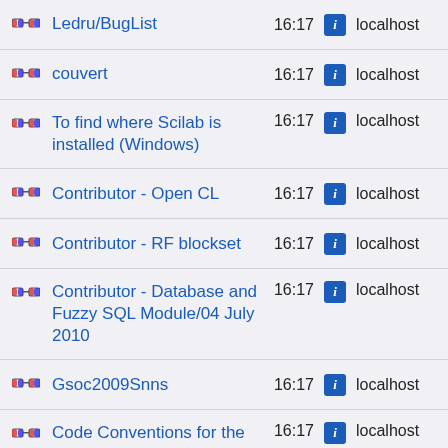Ledru/BugList  16:17  i  localhost
couvert  16:17  i  localhost
To find where Scilab is installed (Windows)  16:17  i  localhost
Contributor - Open CL  16:17  i  localhost
Contributor - RF blockset  16:17  i  localhost
Contributor - Database and Fuzzy SQL Module/04 July 2010  16:17  i  localhost
Gsoc2009Snns  16:17  i  localhost
Code Conventions for the Java Programming  16:17  i  localhost